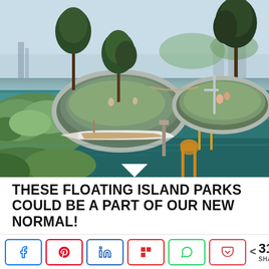[Figure (photo): Aerial/eye-level view of floating island parks with green grass islands, a white boat moored in clear teal water, pine trees, people relaxing, and an urban waterfront in the background.]
THESE FLOATING ISLAND PARKS COULD BE A PART OF OUR NEW NORMAL!
Have you heard that phrase “Whatever floats your
< 31 SHARES